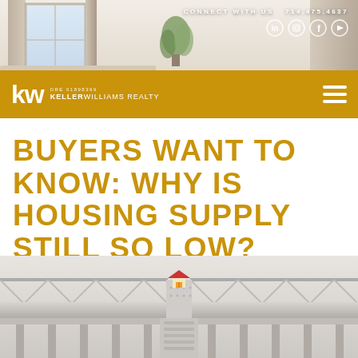[Figure (photo): Interior room photo with soft natural light, sofa, window, curtains, and plant in background]
CONNECT WITH US   714.475.4637
[Figure (logo): Keller Williams Realty logo — KW letters in white on gold bar with DRE 01898399 and KELLERWILLIAMS REALTY text]
BUYERS WANT TO KNOW: WHY IS HOUSING SUPPLY STILL SO LOW?
[Figure (photo): Architectural image of building structure with a small house icon/graphic in center]